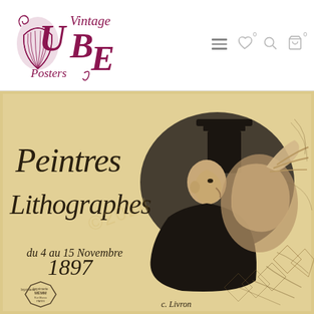[Figure (logo): Vintage UBE Posters logo with decorative Art Nouveau style lettering in dark magenta/maroon color]
[Figure (photo): Vintage lithograph poster 'Peintres Lithographes' dated du 4 au 15 Novembre 1897, featuring an illustrated figure in a top hat in black ink on aged yellow/tan paper, signed c. Livron]